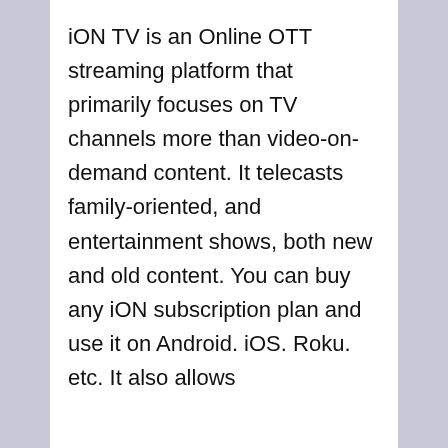iON TV is an Online OTT streaming platform that primarily focuses on TV channels more than video-on-demand content. It telecasts family-oriented, and entertainment shows, both new and old content. You can buy any iON subscription plan and use it on Android. iOS. Roku. etc. It also allows